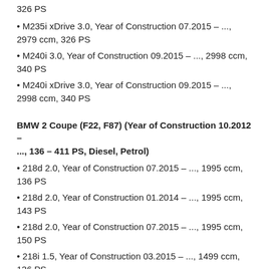326 PS
M235i xDrive 3.0, Year of Construction 07.2015 – ..., 2979 ccm, 326 PS
M240i 3.0, Year of Construction 09.2015 – ..., 2998 ccm, 340 PS
M240i xDrive 3.0, Year of Construction 09.2015 – ..., 2998 ccm, 340 PS
BMW 2 Coupe (F22, F87) (Year of Construction 10.2012 – ..., 136 – 411 PS, Diesel, Petrol)
218d 2.0, Year of Construction 07.2015 – ..., 1995 ccm, 136 PS
218d 2.0, Year of Construction 01.2014 – ..., 1995 ccm, 143 PS
218d 2.0, Year of Construction 07.2015 – ..., 1995 ccm, 150 PS
218i 1.5, Year of Construction 03.2015 – ..., 1499 ccm, 136 PS